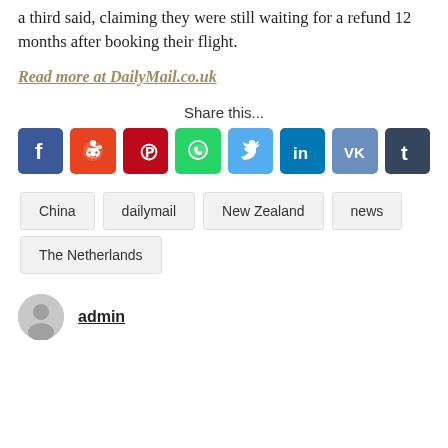a third said, claiming they were still waiting for a refund 12 months after booking their flight.
Read more at DailyMail.co.uk
[Figure (infographic): Share this... social media icons row: Facebook, Reddit, Pinterest, WhatsApp, Twitter, LinkedIn, VK, Tumblr]
China
dailymail
New Zealand
news
The Netherlands
admin